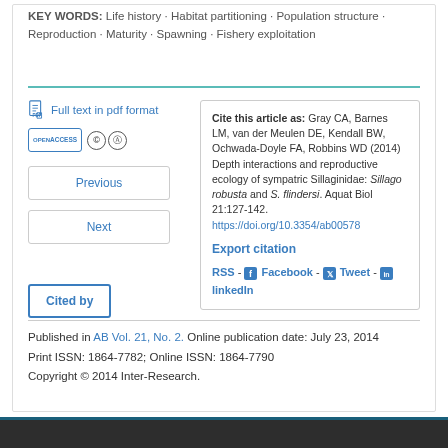KEY WORDS: Life history · Habitat partitioning · Population structure · Reproduction · Maturity · Spawning · Fishery exploitation
Full text in pdf format
Previous
Next
Cite this article as: Gray CA, Barnes LM, van der Meulen DE, Kendall BW, Ochwada-Doyle FA, Robbins WD (2014) Depth interactions and reproductive ecology of sympatric Sillaginidae: Sillago robusta and S. flindersi. Aquat Biol 21:127-142. https://doi.org/10.3354/ab00578
Export citation
RSS - Facebook - Tweet - linkedin
Cited by
Published in AB Vol. 21, No. 2. Online publication date: July 23, 2014
Print ISSN: 1864-7782; Online ISSN: 1864-7790
Copyright © 2014 Inter-Research.